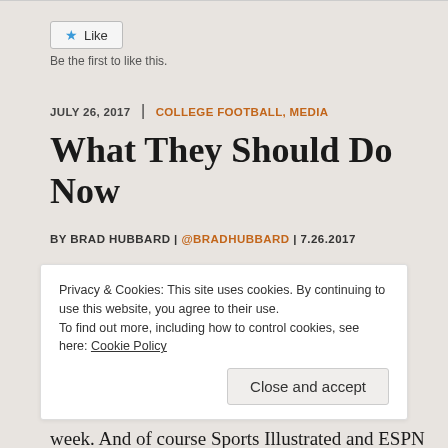[Figure (other): Like button with star icon]
Be the first to like this.
JULY 26, 2017  |  COLLEGE FOOTBALL, MEDIA
What They Should Do Now
BY BRAD HUBBARD | @BRADHUBBARD | 7.26.2017
Privacy & Cookies: This site uses cookies. By continuing to use this website, you agree to their use.
To find out more, including how to control cookies, see here: Cookie Policy
Close and accept
week. And of course Sports Illustrated and ESPN